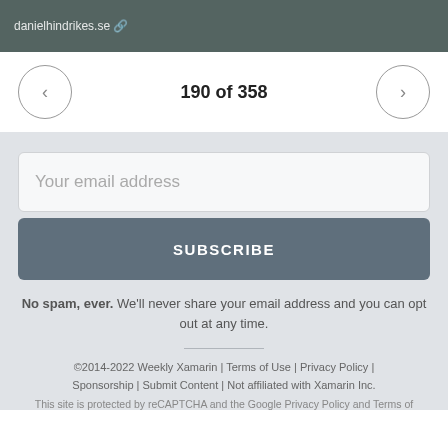danielhindrikes.se
190 of 358
Your email address
SUBSCRIBE
No spam, ever. We'll never share your email address and you can opt out at any time.
©2014-2022 Weekly Xamarin | Terms of Use | Privacy Policy | Sponsorship | Submit Content | Not affiliated with Xamarin Inc.
This site is protected by reCAPTCHA and the Google Privacy Policy and Terms of